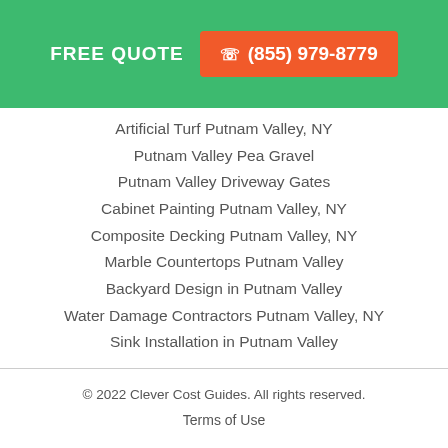FREE QUOTE  ☎ (855) 979-8779
Artificial Turf Putnam Valley, NY
Putnam Valley Pea Gravel
Putnam Valley Driveway Gates
Cabinet Painting Putnam Valley, NY
Composite Decking Putnam Valley, NY
Marble Countertops Putnam Valley
Backyard Design in Putnam Valley
Water Damage Contractors Putnam Valley, NY
Sink Installation in Putnam Valley
© 2022 Clever Cost Guides. All rights reserved.
Terms of Use